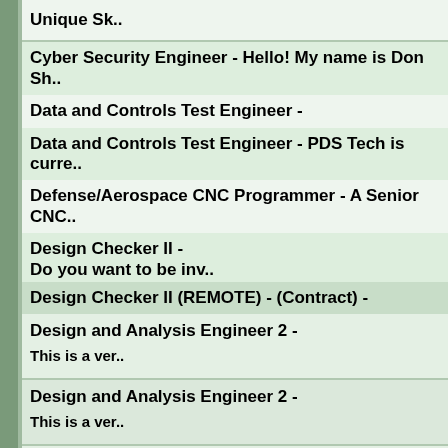Unique Sk..
Cyber Security Engineer - Hello! My name is Don Sh..
Data and Controls Test Engineer -
Data and Controls Test Engineer - PDS Tech is curre..
Defense/Aerospace CNC Programmer - A Senior CNC..
Design Checker II -
Do you want to be inv..
Design Checker II (REMOTE) - (Contract) -
Design and Analysis Engineer 2 -

This is a ver..
Design and Analysis Engineer 2 -

This is a ver..
Design and Analysis Engineer 3 -

This is a ver..